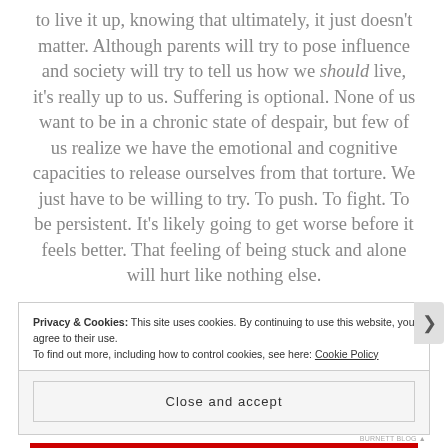to live it up, knowing that ultimately, it just doesn't matter. Although parents will try to pose influence and society will try to tell us how we should live, it's really up to us. Suffering is optional. None of us want to be in a chronic state of despair, but few of us realize we have the emotional and cognitive capacities to release ourselves from that torture. We just have to be willing to try. To push. To fight. To be persistent. It's likely going to get worse before it feels better. That feeling of being stuck and alone will hurt like nothing else.
Privacy & Cookies: This site uses cookies. By continuing to use this website, you agree to their use. To find out more, including how to control cookies, see here: Cookie Policy
Close and accept